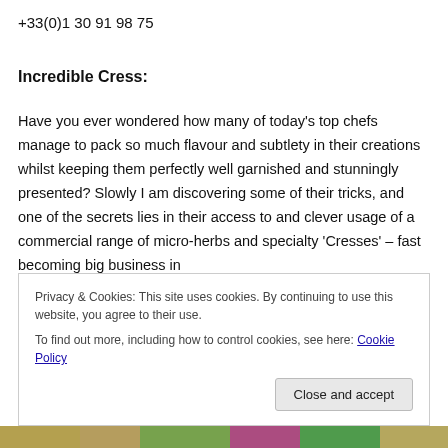+33(0)1 30 91 98 75
Incredible Cress:
Have you ever wondered how many of today’s top chefs manage to pack so much flavour and subtlety in their creations whilst keeping them perfectly well garnished and stunningly presented? Slowly I am discovering some of their tricks, and one of the secrets lies in their access to and clever usage of a commercial range of micro-herbs and specialty ‘Cresses’ – fast becoming big business in
Privacy & Cookies: This site uses cookies. By continuing to use this website, you agree to their use.
To find out more, including how to control cookies, see here: Cookie Policy
[Figure (photo): Bottom strip showing a partial photo of colourful flowers/plants]